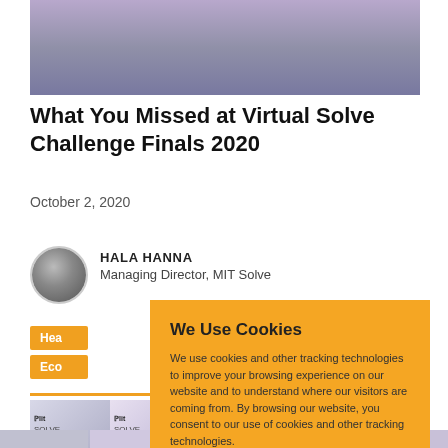[Figure (photo): Stage setup photo with purple/lilac background, chairs, tables, and conference equipment]
What You Missed at Virtual Solve Challenge Finals 2020
October 2, 2020
[Figure (photo): Circular headshot of Hala Hanna]
HALA HANNA
Managing Director, MIT Solve
Hea
Eco
[Figure (screenshot): Cookie consent overlay on orange background with Accept and Reject buttons. Title: We Use Cookies. Body: We use cookies and other tracking technologies to improve your browsing experience on our website and to understand where our visitors are coming from. By browsing our website, you consent to our use of cookies and other tracking technologies.]
[Figure (photo): Bottom row of MIT Solve thumbnails]